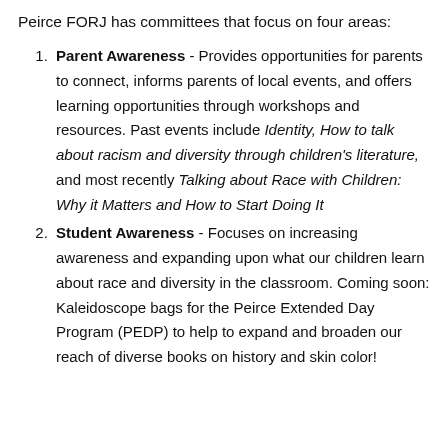Peirce FORJ has committees that focus on four areas:
Parent Awareness - Provides opportunities for parents to connect, informs parents of local events, and offers learning opportunities through workshops and resources. Past events include Identity, How to talk about racism and diversity through children's literature, and most recently Talking about Race with Children: Why it Matters and How to Start Doing It
Student Awareness - Focuses on increasing awareness and expanding upon what our children learn about race and diversity in the classroom. Coming soon: Kaleidoscope bags for the Peirce Extended Day Program (PEDP) to help to expand and broaden our reach of diverse books on history and skin color!